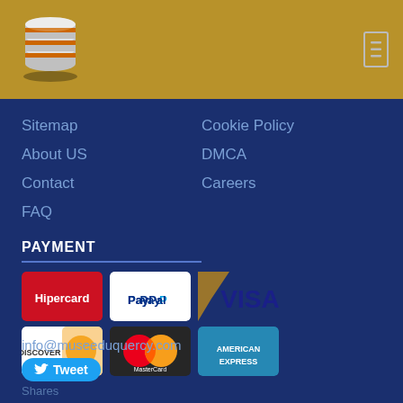[Figure (logo): Database/stack logo icon in silver and orange on golden-brown header bar]
Sitemap
About US
Contact
FAQ
Cookie Policy
DMCA
Careers
PAYMENT
[Figure (other): Payment method icons: Hipercard, PayPal, Visa, Discover, MasterCard, American Express]
info@museeduquercy.com
Tweet
Shares